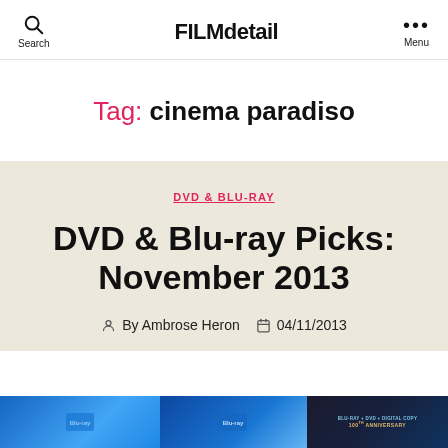FILMdetail | Search | Menu
Tag: cinema paradiso
DVD & BLU-RAY
DVD & Blu-ray Picks: November 2013
By Ambrose Heron  04/11/2013
[Figure (photo): Thumbnail images of DVD/Blu-ray covers at the bottom of the page]